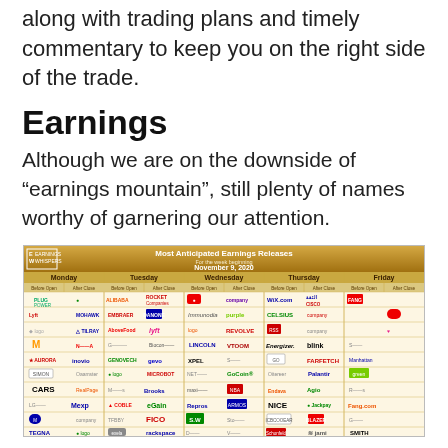along with trading plans and timely commentary to keep you on the right side of the trade.
Earnings
Although we are on the downside of “earnings mountain”, still plenty of names worthy of garnering our attention.
[Figure (infographic): Most Anticipated Earnings Releases for the week beginning November 9, 2020. Earnings Whispers infographic showing company logos organized by day of week (Monday through Friday) with before/after market indicators.]